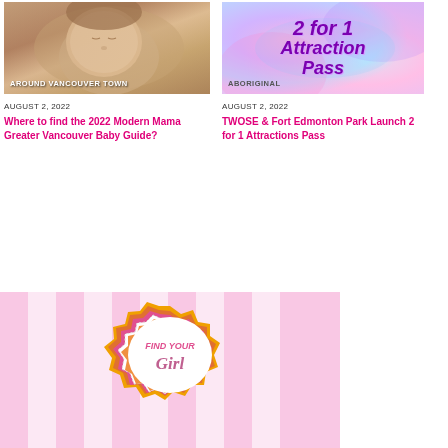[Figure (photo): Sleeping newborn baby photo with warm tones, overlay text 'AROUND VANCOUVER TOWN']
[Figure (photo): Colorful psychedelic background with purple bold text '2 for 1 Attraction Pass', overlay text 'ABORIGINAL']
AUGUST 2, 2022
Where to find the 2022 Modern Mama Greater Vancouver Baby Guide?
AUGUST 2, 2022
TWOSE & Fort Edmonton Park Launch 2 for 1 Attractions Pass
[Figure (illustration): Pink striped background with decorative starburst badge containing text 'FIND YOUR Girl']